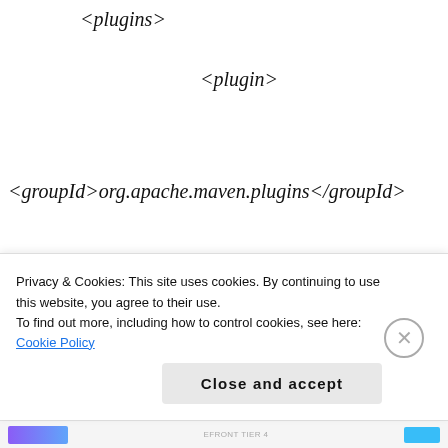<plugins>
<plugin>
<groupId>org.apache.maven.plugins</groupId>
<artifactId>maven-compiler-plugin</artifactId>
<version>2.3.2</version>
<configuration>
Privacy & Cookies: This site uses cookies. By continuing to use this website, you agree to their use. To find out more, including how to control cookies, see here: Cookie Policy
Close and accept